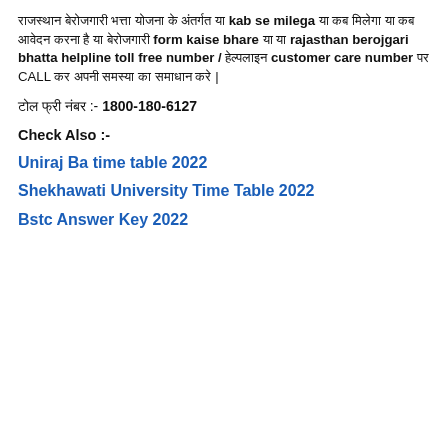राजस्थान बेरोजगारी भत्ता योजना के अंतर्गत या kab se milega या कब मिलेगा या कब आवेदन करना है या बेरोजगारी form kaise bhare या या rajasthan berojgari bhatta helpline toll free number / हेल्पलाइन customer care number पर CALL कर अपनी समस्या का समाधान करे |
टोल फ्री नंबर :- 1800-180-6127
Check Also :-
Uniraj Ba time table 2022
Shekhawati University Time Table 2022
Bstc Answer Key 2022